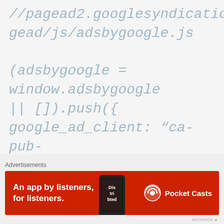//pagead2.googlesyndication.com/pagead/js/adsbygoogle.js

(adsbygoogle = window.adsbygoogle || []).push({
google_ad_client: “ca-pub-6184707053369706”,
enable_page_level_ads: true
});
Advertisements
[Figure (other): Advertisement banner for Pocket Casts app. Red background with text 'An app by listeners, for listeners.' and Pocket Casts logo on the right, with a phone image in the middle.]